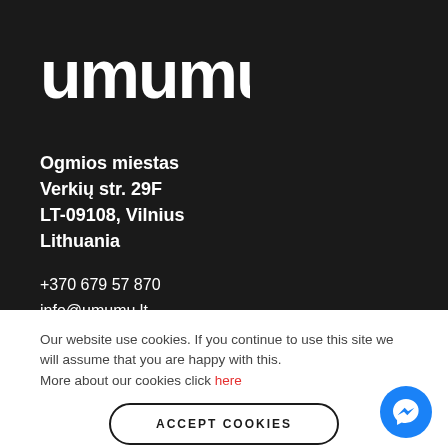[Figure (logo): umumu logo in white rounded letters on dark background]
Ogmios miestas
Verkių str. 29F
LT-09108, Vilnius
Lithuania
+370 679 57 870
info@umumu.lt
Our website use cookies. If you continue to use this site we will assume that you are happy with this. More about our cookies click here
ACCEPT COOKIES